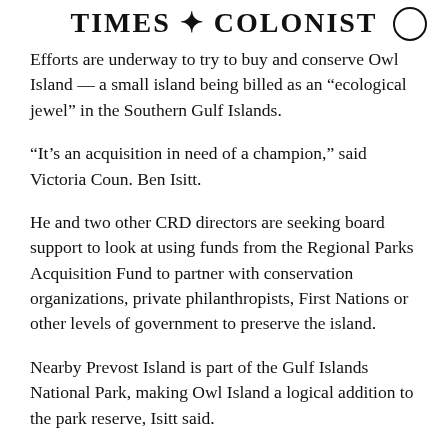TIMES COLONIST
Efforts are underway to try to buy and conserve Owl Island — a small island being billed as an “ecological jewel” in the Southern Gulf Islands.
“It’s an acquisition in need of a champion,” said Victoria Coun. Ben Isitt.
He and two other CRD directors are seeking board support to look at using funds from the Regional Parks Acquisition Fund to partner with conservation organizations, private philanthropists, First Nations or other levels of government to preserve the island.
Nearby Prevost Island is part of the Gulf Islands National Park, making Owl Island a logical addition to the park reserve, Isitt said.
The two-acre island, located at the mouth of Ganges Harbour